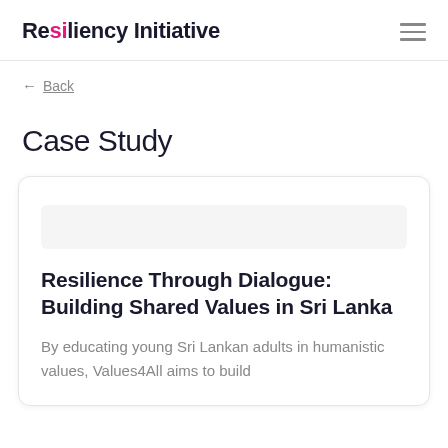Resiliency Initiative
← Back
Case Study
Resilience Through Dialogue: Building Shared Values in Sri Lanka
By educating young Sri Lankan adults in humanistic values, Values4All aims to build